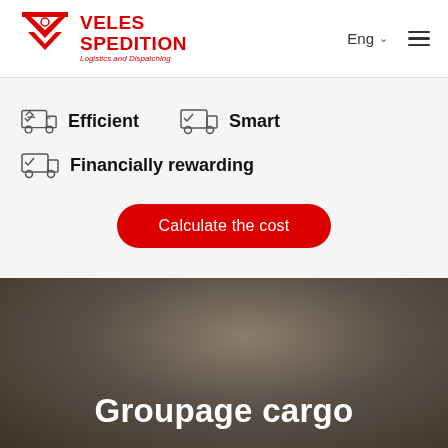[Figure (logo): Veles Spedition logo with red V-shape icon and text 'VELES SPEDITION Logistics and Dispatching']
Eng
Efficient
Smart
Financially rewarding
Calculate the cost
Groupage cargo